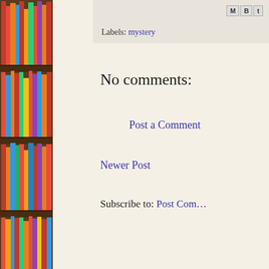[Figure (photo): Bookshelf with colorful books on brown wooden shelves, spanning the full left side of the page]
Labels: mystery
No comments:
Post a Comment
Newer Post
Subscribe to: Post Com...